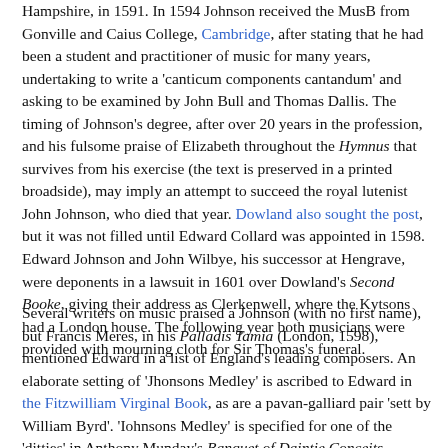Hampshire, in 1591. In 1594 Johnson received the MusB from Gonville and Caius College, Cambridge, after stating that he had been a student and practitioner of music for many years, undertaking to write a 'canticum components cantandum' and asking to be examined by John Bull and Thomas Dallis. The timing of Johnson's degree, after over 20 years in the profession, and his fulsome praise of Elizabeth throughout the Hymnus that survives from his exercise (the text is preserved in a printed broadside), may imply an attempt to succeed the royal lutenist John Johnson, who died that year. Dowland also sought the post, but it was not filled until Edward Collard was appointed in 1598. Edward Johnson and John Wilbye, his successor at Hengrave, were deponents in a lawsuit in 1601 over Dowland's Second Booke, giving their address as Clerkenwell, where the Kytsons had a London house. The following year both musicians were provided with mourning cloth for Sir Thomas's funeral.
Several writers on music praised a Johnson (with no first name), but Francis Meres, in his Palladis Tamia (London, 1598), mentioned Edward in a list of England's leading composers. An elaborate setting of 'Jhonsons Medley' is ascribed to Edward in the Fitzwilliam Virginal Book, as are a pavan-galliard pair 'sett by William Byrd'. 'Iohnsons Medley' is specified for one of the 'ditties' in Anthony Munday's Banquet of Daintie Conceits (London, 1588) and the same music was used for a song, The flower, first of this name, and a 17th-century Scottish...